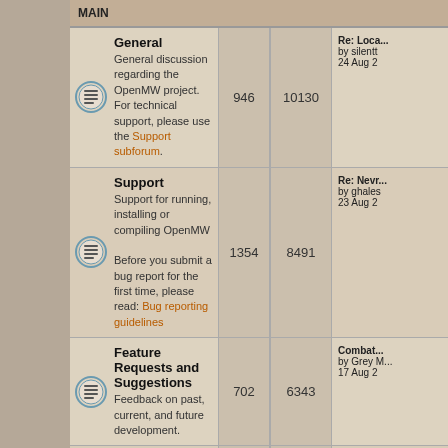MAIN
| Forum | Topics | Posts | Last post |
| --- | --- | --- | --- |
| General
General discussion regarding the OpenMW project.
For technical support, please use the Support subforum. | 946 | 10130 | Re: Loca... by silentt 24 Aug 2 |
| Support
Support for running, installing or compiling OpenMW
Before you submit a bug report for the first time, please read: Bug reporting guidelines | 1354 | 8491 | Re: Nevr... by ghales 23 Aug 2 |
| Feature Requests and Suggestions
Feedback on past, current, and future development. | 702 | 6343 | Combat... by Grey M... 17 Aug 2 |
| Join the team
Join the team. This area is for people who want to participate in OpenMW's development in one way or another. | 259 | 2090 | Re: Appl... by psi29a 28 Jul 20 |
| Off Topic | 605 | 6746 | Re: Can't... by Rose... |